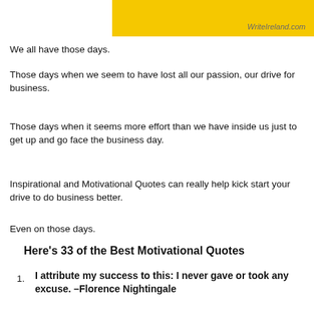[Figure (other): Yellow banner header with WriteIreland.com text in italic gray]
We all have those days.
Those days when we seem to have lost all our passion, our drive for business.
Those days when it seems more effort than we have inside us just to get up and go face the business day.
Inspirational and Motivational Quotes can really help kick start your drive to do business better.
Even on those days.
Here's 33 of the Best Motivational Quotes
I attribute my success to this: I never gave or took any excuse. –Florence Nightingale